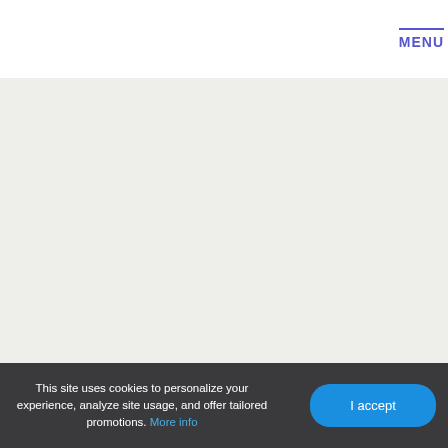MENU
[Figure (other): Light gray empty content area, main page body placeholder]
This site uses cookies to personalize your experience, analyze site usage, and offer tailored promotions. More info
I accept